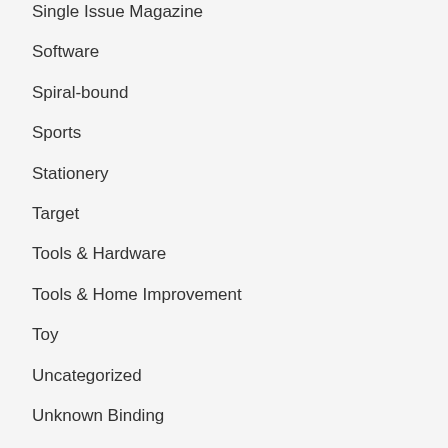Single Issue Magazine
Software
Spiral-bound
Sports
Stationery
Target
Tools & Hardware
Tools & Home Improvement
Toy
Uncategorized
Unknown Binding
VHS Tape
Video G…